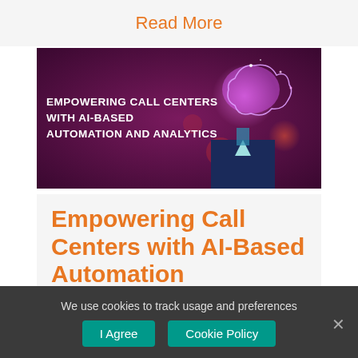Read More
[Figure (illustration): Dark purple/magenta banner image showing a headless figure in a suit with a glowing brain in place of the head. White bold text reads: EMPOWERING CALL CENTERS WITH AI-BASED AUTOMATION AND ANALYTICS]
Empowering Call Centers with AI-Based Automation
We use cookies to track usage and preferences
I Agree
Cookie Policy